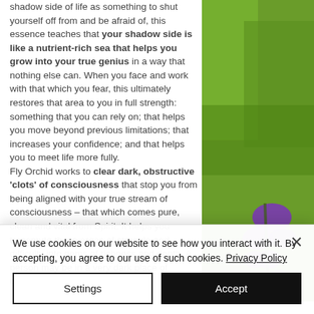shadow side of life as something to shut yourself off from and be afraid of, this essence teaches that your shadow side is like a nutrient-rich sea that helps you grow into your true genius in a way that nothing else can. When you face and work with that which you fear, this ultimately restores that area to you in full strength: something that you can rely on; that helps you move beyond previous limitations; that increases your confidence; and that helps you to meet life more fully.

Fly Orchid works to clear dark, obstructive 'clots' of consciousness that stop you from being aligned with your true stream of consciousness – that which comes pure, clean and vital from Spirit. It helps you transmute these areas of struggle and difficulty into gems of richness and depth. A person may be in a very dark place of depression
[Figure (photo): Close-up photo of purple/violet orchid flowers with green grass background]
We use cookies on our website to see how you interact with it. By accepting, you agree to our use of such cookies. Privacy Policy